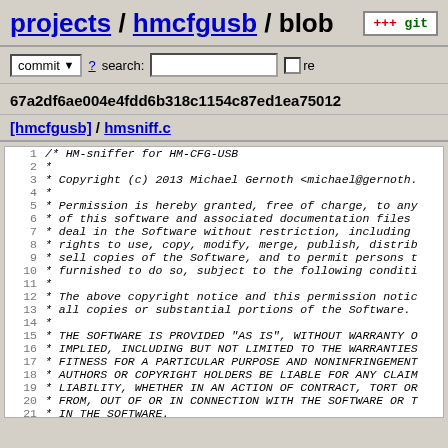projects / hmcfgusb / blob
commit ? search: re
67a2df6ae004e4fdd6b318c1154c87ed1ea75012
[hmcfgusb] / hmsniff.c
[Figure (screenshot): Source code viewer showing lines 1-21 of hmsniff.c, a C file with MIT license header comment block in monospace italic font with line numbers]